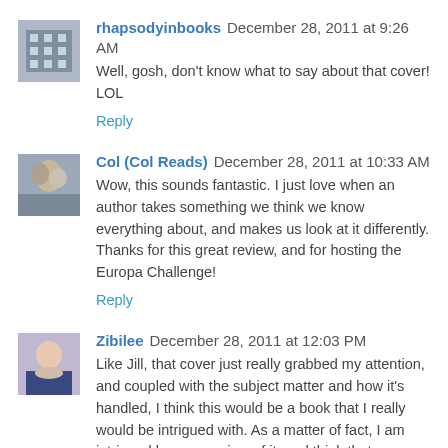rhapsodyinbooks December 28, 2011 at 9:26 AM
Well, gosh, don't know what to say about that cover! LOL
Reply
Col (Col Reads) December 28, 2011 at 10:33 AM
Wow, this sounds fantastic. I just love when an author takes something we think we know everything about, and makes us look at it differently. Thanks for this great review, and for hosting the Europa Challenge!
Reply
Zibilee December 28, 2011 at 12:03 PM
Like Jill, that cover just really grabbed my attention, and coupled with the subject matter and how it's handled, I think this would be a book that I really would be intrigued with. As a matter of fact, I am intrigued by your review of it, and think that some reflection on and the statement made...